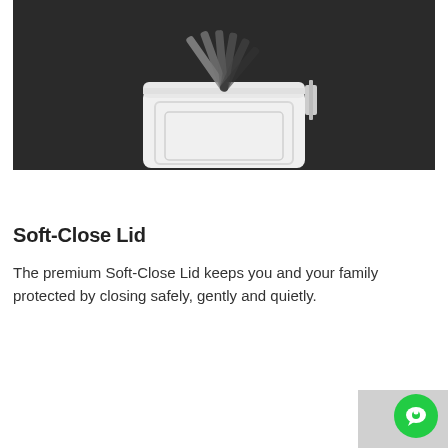[Figure (photo): A product photo of a white trash can or waste bin with its soft-close lid partially open, shown against a dark charcoal/black background. Multiple gray lid panels are fanned out open at various angles above the white bin.]
Soft-Close Lid
The premium Soft-Close Lid keeps you and your family protected by closing safely, gently and quietly.